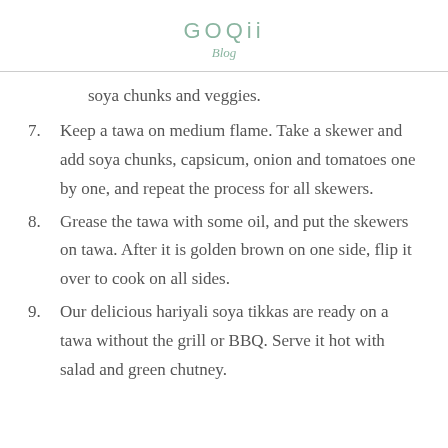GOQii
Blog
soya chunks and veggies.
7. Keep a tawa on medium flame. Take a skewer and add soya chunks, capsicum, onion and tomatoes one by one, and repeat the process for all skewers.
8. Grease the tawa with some oil, and put the skewers on tawa. After it is golden brown on one side, flip it over to cook on all sides.
9. Our delicious hariyali soya tikkas are ready on a tawa without the grill or BBQ. Serve it hot with salad and green chutney.